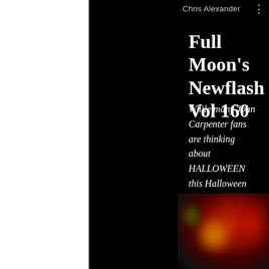Chris Alexander
Full Moon's Newflash Vol 160
While many John Carpenter fans are thinking about HALLOWEEN this Halloween season, DELIRIUM takes a sharp left turn to celebrate the 20th anniversary of Carpenter's muscular, hyper-violent heavy metal horror hybrid GHOSTS OF MARS!
[Figure (photo): Blurred dark horror imagery with red and orange bokeh lights against a black background, suggesting a horror movie aesthetic]